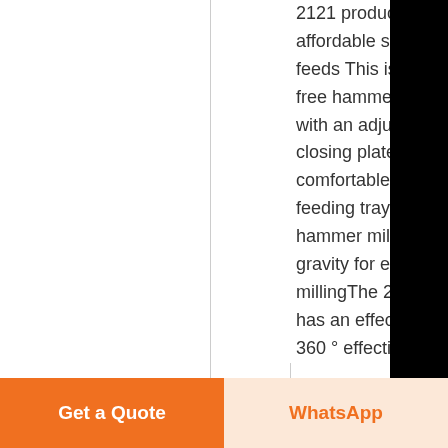2121 produces affordable stock feeds This is a dust free hammer mill with an adjustable closing plate and comfortable feeding tray The hammer mill uses gravity for effective millingThe 2121 has an effective 360 ° effective
Chat
E-mail
Top
Get a Quote
WhatsApp